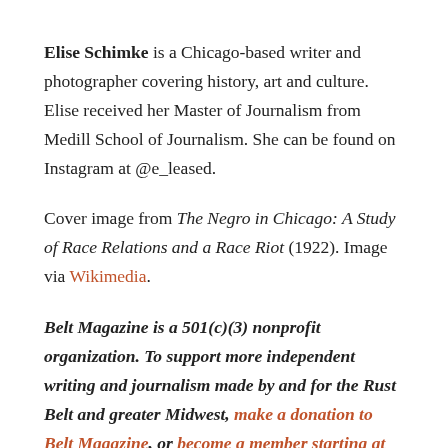Elise Schimke is a Chicago-based writer and photographer covering history, art and culture. Elise received her Master of Journalism from Medill School of Journalism. She can be found on Instagram at @e_leased.
Cover image from The Negro in Chicago: A Study of Race Relations and a Race Riot (1922). Image via Wikimedia.
Belt Magazine is a 501(c)(3) nonprofit organization. To support more independent writing and journalism made by and for the Rust Belt and greater Midwest, make a donation to Belt Magazine, or become a member starting at just $5 a month.